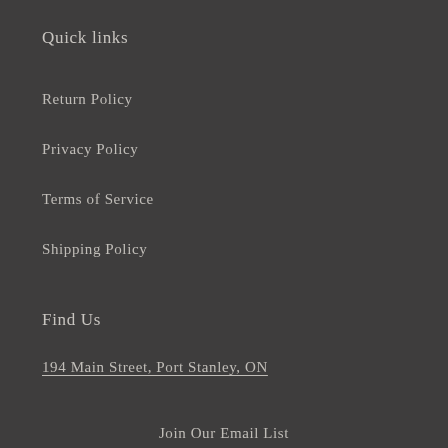Quick links
Return Policy
Privacy Policy
Terms of Service
Shipping Policy
Find Us
194 Main Street, Port Stanley, ON
Join Our Email List